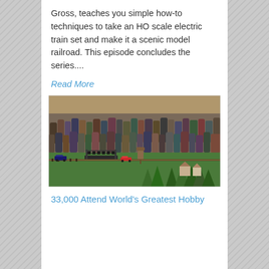Gross, teaches you simple how-to techniques to take an HO scale electric train set and make it a scenic model railroad. This episode concludes the series....
Read More
[Figure (photo): A large crowd of people gathered around a model railroad display layout with buildings, trees, trains, and a bridge at a hobby show or exhibition.]
33,000 Attend World's Greatest Hobby